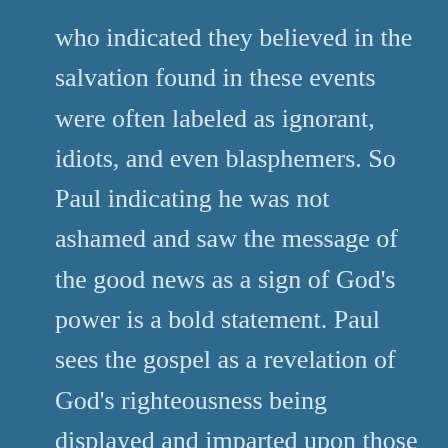who indicated they believed in the salvation found in these events were often labeled as ignorant, idiots, and even blasphemers. So Paul indicating he was not ashamed and saw the message of the good news as a sign of God's power is a bold statement. Paul sees the gospel as a revelation of God's righteousness being displayed and imparted upon those who believe in it.
Are you ashamed of the gospel? After all, there is sketchy logic to support the claims of the good news. Individuals today still reject this